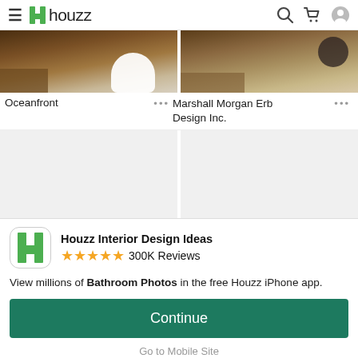houzz
[Figure (photo): Two bathroom photos side by side, partially cropped at top]
Oceanfront
Marshall Morgan Erb Design Inc.
[Figure (photo): Two grey placeholder image boxes]
Houzz Interior Design Ideas
★★★★★ 300K Reviews
View millions of Bathroom Photos in the free Houzz iPhone app.
Continue
Go to Mobile Site